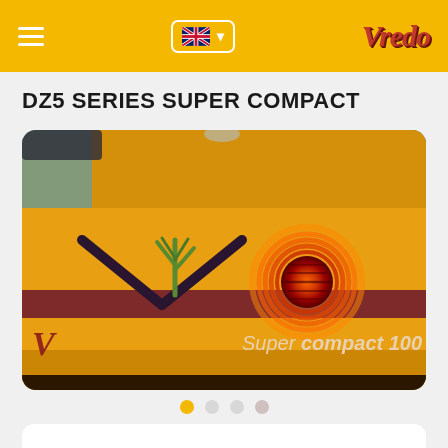Vredo – DZ5 Series Super Compact
DZ5 SERIES SUPER COMPACT
[Figure (photo): Close-up photo of a yellow Vredo DZ5 Super Compact 100 agricultural machine, showing the side panel with decorative chevron and grass graphic, a circular red tail light with concentric rings, and the text 'Super compact 100' on the body. Carousel with 4 dots below (first dot active/yellow, three inactive/white).]